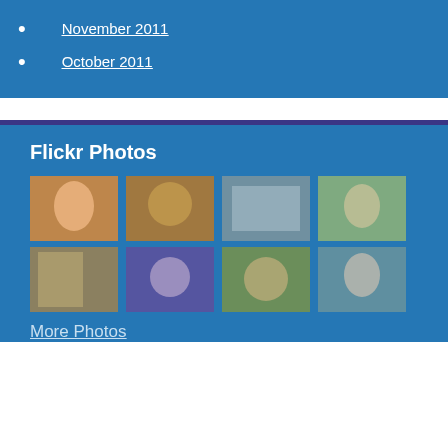November 2011
October 2011
Flickr Photos
[Figure (photo): Grid of 8 thumbnail photos showing people at library or community events]
More Photos